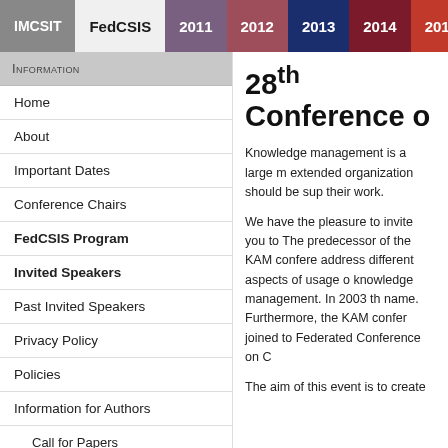IMCSIT | FedCSIS | 2011 | 2012 | 2013 | 2014 | 2015
INFORMATION
Home
About
Important Dates
Conference Chairs
FedCSIS Program
Invited Speakers
Past Invited Speakers
Privacy Policy
Policies
Information for Authors
Call for Papers
Call for Position Papers
Categories of Papers
Paper Reviews and Acceptance Decisions
Paper Submission
28th Conference o
Knowledge management is a large m extended organization should be sup their work.
We have the pleasure to invite you to The predecessor of the KAM confere address different aspects of usage o knowledge management. In 2003 th name. Furthermore, the KAM confer joined to Federated Conference on C
The aim of this event is to create